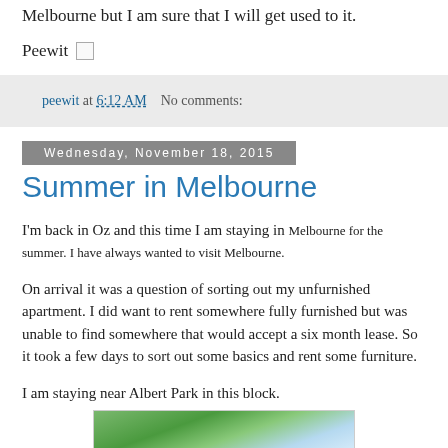I notice that it can be hot one day and cold the next here in Melbourne but I am sure that I will get used to it.
Peewit
peewit at 6:12 AM    No comments:
Wednesday, November 18, 2015
Summer in Melbourne
I'm back in Oz and this time I am staying in Melbourne for the summer. I have always wanted to visit Melbourne.
On arrival it was a question of sorting out my unfurnished apartment. I did want to rent somewhere fully furnished but was unable to find somewhere that would accept a six month lease. So it took a few days to sort out some basics and rent some furniture.
I am staying near Albert Park in this block.
[Figure (photo): Exterior photo of an apartment block near Albert Park, showing trees and building facade against a blue sky]